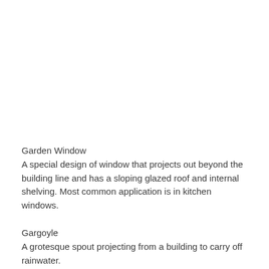Garden Window
A special design of window that projects out beyond the building line and has a sloping glazed roof and internal shelving. Most common application is in kitchen windows.
Gargoyle
A grotesque spout projecting from a building to carry off rainwater.